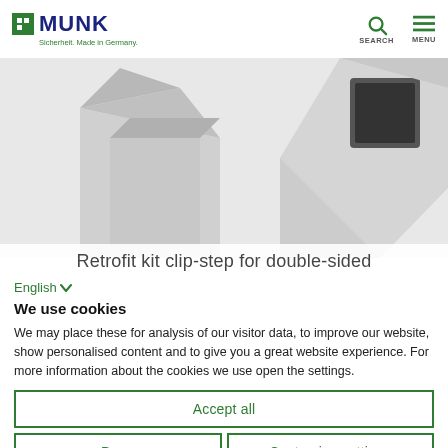MUNK – Sicherheit. Made in Germany. [SEARCH] [MENU]
[Figure (photo): Partial product images showing metallic clip-step components on white background, two views shown]
Retrofit kit clip-step for double-sided
English ∨
We use cookies
We may place these for analysis of our visitor data, to improve our website, show personalised content and to give you a great website experience. For more information about the cookies we use open the settings.
Accept all
Deny
Customize settings